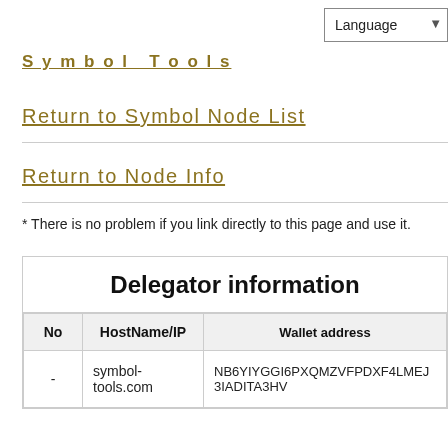Language
Symbol Tools
Return to Symbol Node List
Return to Node Info
* There is no problem if you link directly to this page and use it.
| No | HostName/IP | Wallet address |
| --- | --- | --- |
| - | symbol-tools.com | NB6YIYGGI6PXQMZVFPDXF4LMEJ3IADITA3HV |